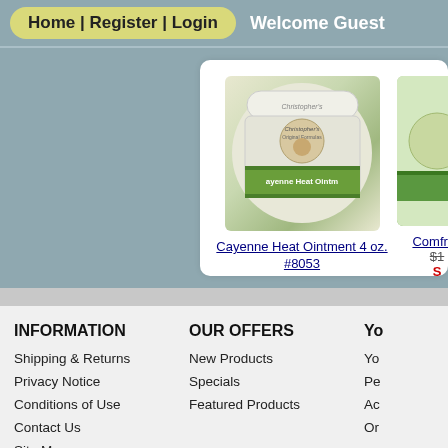Home | Register | Login   Welcome Guest
[Figure (photo): Jar of Christopher's Original Formulas Cayenne Heat Ointment 4 oz., partially cropped jar of a second product (Comfrey) on the right]
Cayenne Heat Ointment 4 oz. #8053
$28.99  $21.74
Save: 25% off
Comfrey...
$1... S...
INFORMATION
Shipping & Returns
Privacy Notice
Conditions of Use
Contact Us
Site Map
Gift Certificate FAQ
Newsletter Unsubscribe
OUR OFFERS
New Products
Specials
Featured Products
YO...